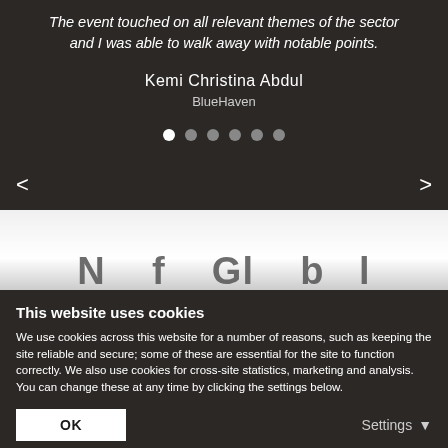The event touched on all relevant themes of the sector and I was able to walk away with notable points.
Kemi Christina Abdul
BlueHaven
[Figure (screenshot): Carousel navigation dots — one white active dot followed by five grey dots]
[Figure (screenshot): Partially visible section with large bold text below a white/grey gradient area]
This website uses cookies
We use cookies across this website for a number of reasons, such as keeping the site reliable and secure; some of these are essential for the site to function correctly. We also use cookies for cross-site statistics, marketing and analysis. You can change these at any time by clicking the settings below.
OK
Settings